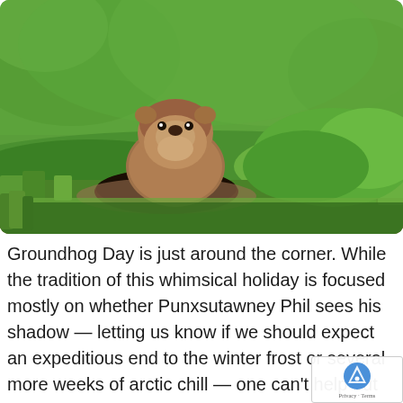[Figure (photo): A groundhog peeking its head out of a burrow hole in the ground, surrounded by green grass. The animal has brown fur and is looking upward. The background is a blurred green lawn.]
Groundhog Day is just around the corner. While the tradition of this whimsical holiday is focused mostly on whether Punxsutawney Phil sees his shadow — letting us know if we should expect an expeditious end to the winter frost or several more weeks of arctic chill — one can't help but also think of the day's hilarious namesake movie. In